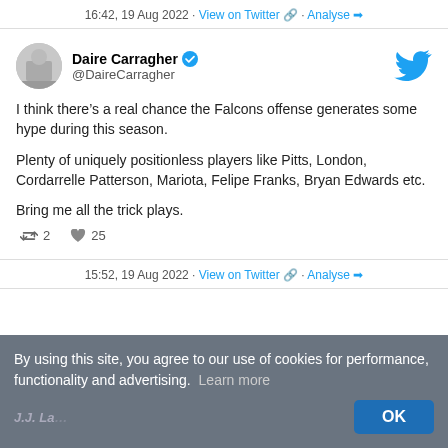16:42, 19 Aug 2022 · View on Twitter · Analyse
[Figure (screenshot): Twitter profile card for Daire Carragher with verified badge and Twitter bird logo]
I think there's a real chance the Falcons offense generates some hype during this season.

Plenty of uniquely positionless players like Pitts, London, Cordarrelle Patterson, Mariota, Felipe Franks, Bryan Edwards etc.

Bring me all the trick plays.
2 retweets · 25 likes
15:52, 19 Aug 2022 · View on Twitter · Analyse
By using this site, you agree to our use of cookies for performance, functionality and advertising. Learn more OK